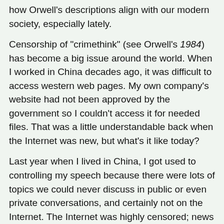how Orwell's descriptions align with our modern society, especially lately.
Censorship of "crimethink" (see Orwell's 1984) has become a big issue around the world. When I worked in China decades ago, it was difficult to access western web pages. My own company's website had not been approved by the government so I couldn't access it for needed files. That was a little understandable back when the Internet was new, but what's it like today?
Last year when I lived in China, I got used to controlling my speech because there were lots of topics we could never discuss in public or even private conversations, and certainly not on the Internet. The Internet was highly censored; news items that contradicted official government positions were banned, as were individuals who were deemed a threat to society for voicing opinions or reporting news. In some cases, such people became unpersons.
If you haven't looked at China Daily, you should, because that's what the American news media resembles. There is